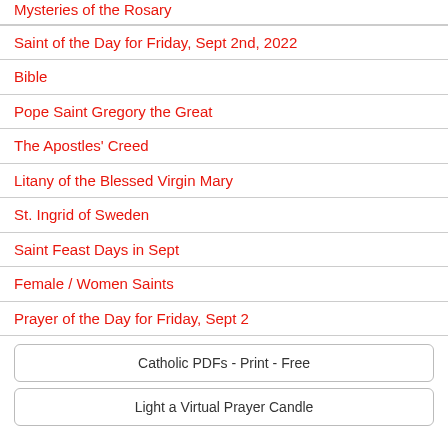Mysteries of the Rosary
Saint of the Day for Friday, Sept 2nd, 2022
Bible
Pope Saint Gregory the Great
The Apostles' Creed
Litany of the Blessed Virgin Mary
St. Ingrid of Sweden
Saint Feast Days in Sept
Female / Women Saints
Prayer of the Day for Friday, Sept 2
Catholic PDFs - Print - Free
Light a Virtual Prayer Candle